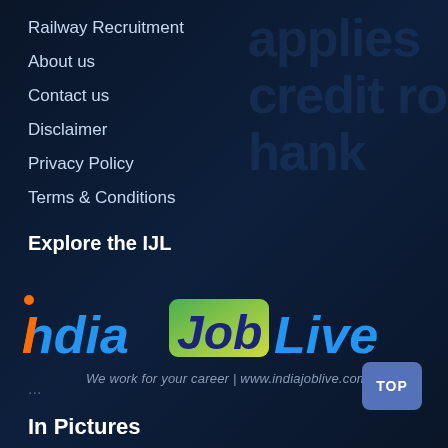Railway Recruitment
About us
Contact us
Disclaimer
Privacy Policy
Terms & Conditions
Explore the IJL
[Figure (logo): India Job Live logo with tagline: We work for your career | www.indiajoblive.com]
...
In Pictures
TOP